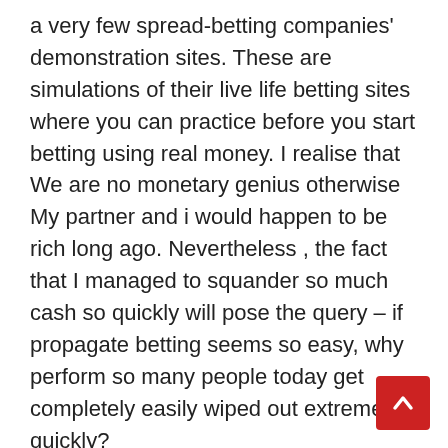a very few spread-betting companies' demonstration sites. These are simulations of their live life betting sites where you can practice before you start betting using real money. I realise that We are no monetary genius otherwise My partner and i would happen to be rich long ago. Nevertheless , the fact that I managed to squander so much cash so quickly will pose the query – if propagate betting seems so easy, why perform so many people today get completely easily wiped out extremely quickly?
We're increasingly looking at advertising for distributed betting in investing and money managing publications. Inside the 1 I sign up to, 4 or five various spread betting service